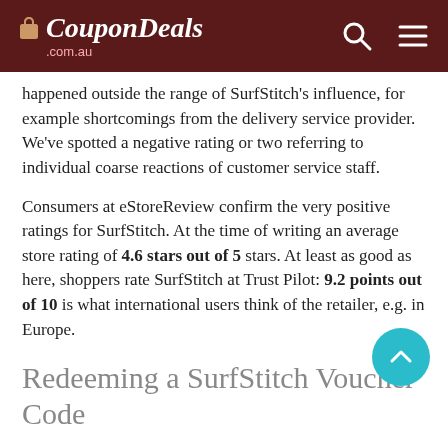CouponDeals .com.au
happened outside the range of SurfStitch's influence, for example shortcomings from the delivery service provider. We've spotted a negative rating or two referring to individual coarse reactions of customer service staff.
Consumers at eStoreReview confirm the very positive ratings for SurfStitch. At the time of writing an average store rating of 4.6 stars out of 5 stars. At least as good as here, shoppers rate SurfStitch at Trust Pilot: 9.2 points out of 10 is what international users think of the retailer, e.g. in Europe.
Redeeming a SurfStitch Voucher Code
If you want to save on men's surf and street fashion, redeem a voucher code and get an automatic discount. Once you find a porper coupon code on